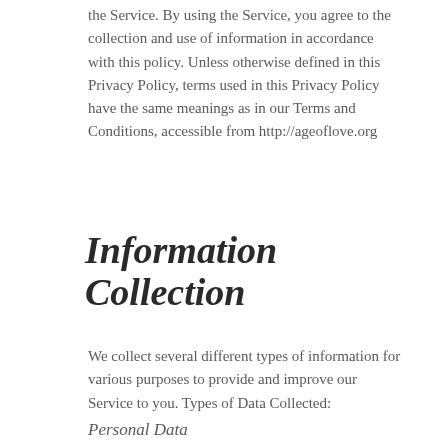the Service. By using the Service, you agree to the collection and use of information in accordance with this policy. Unless otherwise defined in this Privacy Policy, terms used in this Privacy Policy have the same meanings as in our Terms and Conditions, accessible from http://ageoflove.org
Information Collection
We collect several different types of information for various purposes to provide and improve our Service to you. Types of Data Collected:
Personal Data